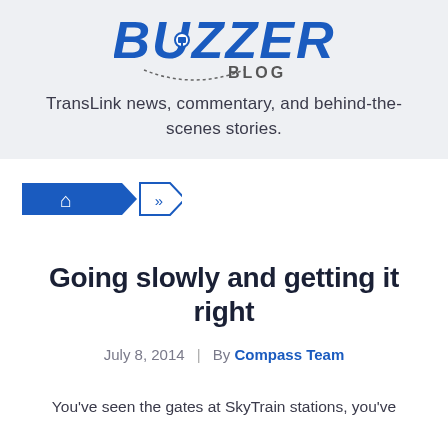[Figure (logo): Buzzer Blog logo - blue stylized text reading BUZZER BLOG with a dotted curved line and transit icon]
TransLink news, commentary, and behind-the-scenes stories.
[Figure (other): Breadcrumb navigation with home icon (blue filled arrow) and two outline chevron arrows]
Going slowly and getting it right
July 8, 2014  |  By Compass Team
You've seen the gates at SkyTrain stations, you've